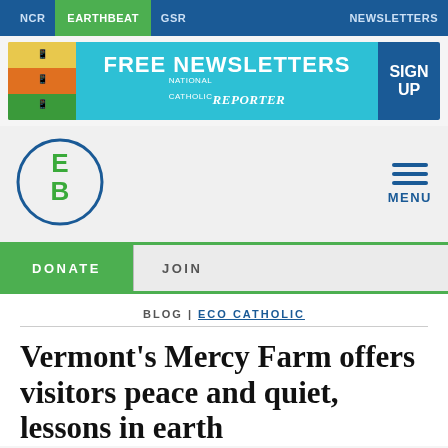NCR | EARTHBEAT | GSR | NEWSLETTERS
[Figure (illustration): Banner advertisement for National Catholic Reporter free newsletters with sign up button]
[Figure (logo): EarthBeat logo - EB initials in green inside a blue circle]
MENU
DONATE  JOIN
BLOG | ECO CATHOLIC
Vermont's Mercy Farm offers visitors peace and quiet, lessons in earth